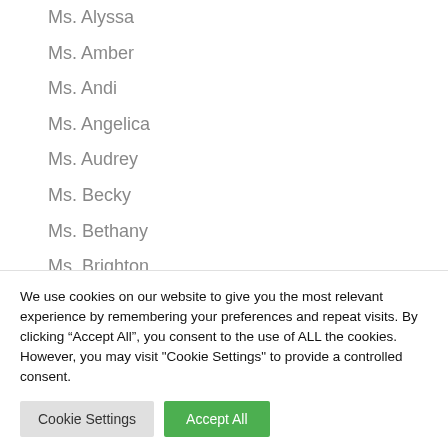Ms. Alyssa
Ms. Amber
Ms. Andi
Ms. Angelica
Ms. Audrey
Ms. Becky
Ms. Bethany
Ms. Brighton
Ms. Britany
We use cookies on our website to give you the most relevant experience by remembering your preferences and repeat visits. By clicking “Accept All”, you consent to the use of ALL the cookies. However, you may visit "Cookie Settings" to provide a controlled consent.
Cookie Settings | Accept All